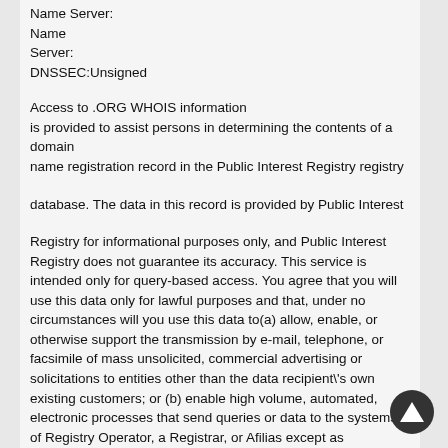Name Server:
Name
Server:
DNSSEC:Unsigned
Access to .ORG WHOIS information is provided to assist persons in determining the contents of a domain name registration record in the Public Interest Registry registry
database. The data in this record is provided by Public Interest
Registry for informational purposes only, and Public Interest Registry does not guarantee its accuracy. This service is intended only for query-based access. You agree that you will use this data only for lawful purposes and that, under no circumstances will you use this data to(a) allow, enable, or otherwise support the transmission by e-mail, telephone, or facsimile of mass unsolicited, commercial advertising or solicitations to entities other than the data recipient's own existing customers; or (b) enable high volume, automated, electronic processes that send queries or data to the systems of Registry Operator, a Registrar, or Afilias except as reasonably necessary to register domain names or modify existing registrations. All rights reserved. Public Interest Registry reserves the right to modify these terms at any time. By submitting this query, you agree to abide by this policy.